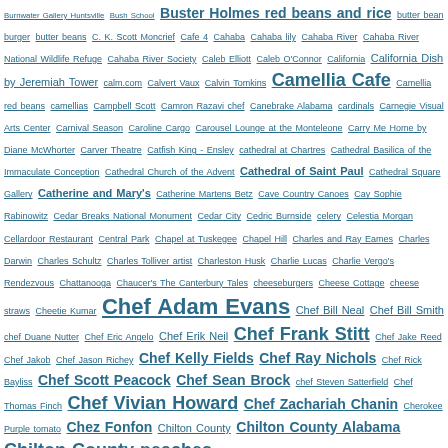Burnwater Gallery Huntsville Bush School Buster Holmes red beans and rice butter bean burger butter beans C. K. Scott Moncrief Cafe 4 Cahaba Cahaba lily Cahaba River Cahaba River National Wildlife Refuge Cahaba River Society Caleb Elliott Caleb O'Connor California California Dish by Jeremiah Tower calm.com Calvert Vaux Calvin Tomkins Camellia Cafe Camellia red beans camellias Campbell Scott Camron Razavi chef Canebrake Alabama cardinals Carnegie Visual Arts Center Carnival Season Caroline Cargo Carousel Lounge at the Monteleone Carry Me Home by Diane McWhorter Carver Theatre Catfish King - Ensley cathedral at Chartres Cathedral Basilica of the Immaculate Conception Cathedral Church of the Advent Cathedral of Saint Paul Cathedral Square Gallery Catherine and Mary's Catherine Martens Betz Cave Country Canoes Cay Sophie Rabinowitz Cedar Breaks National Monument Cedar City Cedric Burnside celery Celestia Morgan Cellardoor Restaurant Central Park Chapel at Tuskegee Chapel Hill Charles and Ray Eames Charles Darwin Charles Schultz Charles Tolliver artist Charleston Husk Charlie Lucas Charlie Vergo's Rendezvous Chattanooga Chaucer's The Canterbury Tales cheeseburgers Cheese Cottage cheese straws Cheetie Kumar Chef Adam Evans Chef Bill Neal Chef Bill Smith chef Duane Nutter Chef Eric Angelo Chef Erik Neil Chef Frank Stitt Chef Jake Reed Chef Jakob Chef Jason Richey Chef Kelly Fields Chef Ray Nichols Chef Rick Bayliss Chef Scott Peacock Chef Sean Brock chef Steven Satterfield Chef Thomas Finch Chef Vivian Howard Chef Zachariah Chanin Cherokee Purple tomato Chez Fonfon Chilton County Chilton County Alabama Chilton County peaches Chilton Couty peaches Chris Brown director Christina Rossetti Christmas 2019 Christmas cards Christmas in Alabama Christmas Night Shootout of 1927 Christopher Fennell Chuck King church architecture churches Churchill Downs Cindy Edwards "Cindware"